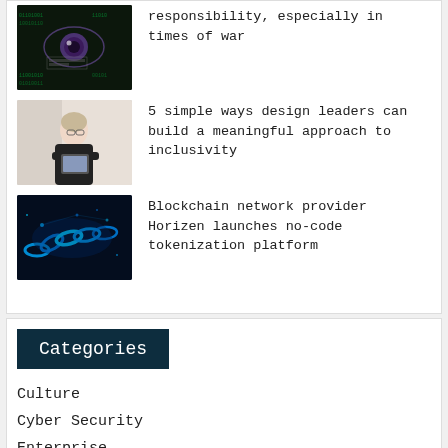[Figure (photo): Close-up of a human eye with digital matrix overlay and green code]
responsibility, especially in times of war
[Figure (photo): Person standing with arms crossed holding a tablet, wearing a black top]
5 simple ways design leaders can build a meaningful approach to inclusivity
[Figure (photo): Blue glowing blockchain network chain on dark background]
Blockchain network provider Horizen launches no-code tokenization platform
Categories
Culture
Cyber Security
Enterprise